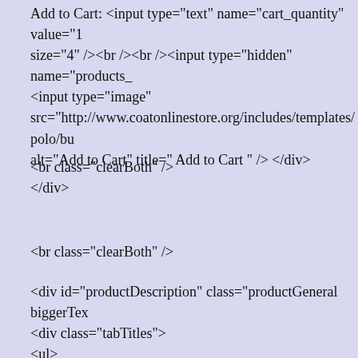Add to Cart: <input type="text" name="cart_quantity" value="1" size="4" /><br /><br /><input type="hidden" name="products_<input type="image" src="http://www.coatonlinestore.org/includes/templates/polo/bu alt="Add to Cart" title=" Add to Cart " /> </div>
<br class="clearBoth" />
</div>
<br class="clearBoth" />
<div id="productDescription" class="productGeneral biggerTex <div class="tabTitles">
<ul>
<li> <h4 tid="t1" class="cur"><strong class=""><span>Descrip </strong></h4> </li>
</ul>
</div>
<p>With the first class material,fashion in design and comfortabl wear,'<strong>2014 New Moncler Down Coat Women Hooded Coffee</strong>' are filling with the white goose down,very con